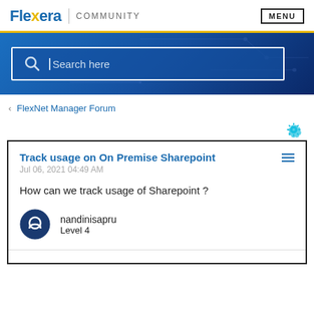Flexera | COMMUNITY   MENU
[Figure (screenshot): Search bar with placeholder text 'Search here' on a blue gradient background]
‹ FlexNet Manager Forum
Track usage on On Premise Sharepoint
Jul 06, 2021 04:49 AM
How can we track usage of Sharepoint ?
nandinisapru
Level 4